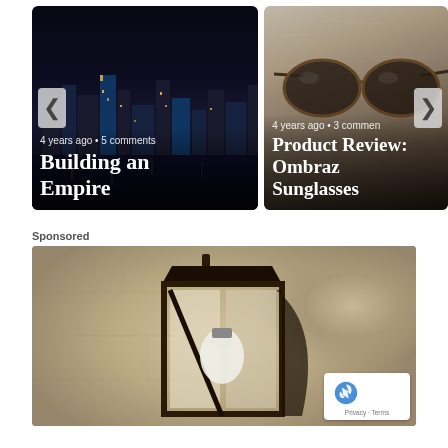[Figure (photo): Carousel card: nighttime NYC skyline photo with navigation arrows. Text overlay: '4 years ago • 5 comments' and title 'Building an Empire']
[Figure (photo): Carousel card: close-up sunglasses on stone/concrete surface. Text overlay: '4 years ago • 3 comments' and title 'Product Review: Ombraz Sunglasses'. Right navigation arrow visible.]
Sponsored
[Figure (photo): Sponsored image: close-up of a vintage black metal wall lantern/light fixture with a visible bulb, mounted on a textured stone/stucco wall. reCAPTCHA badge visible in bottom-right corner with 'Privacy · Terms' text.]